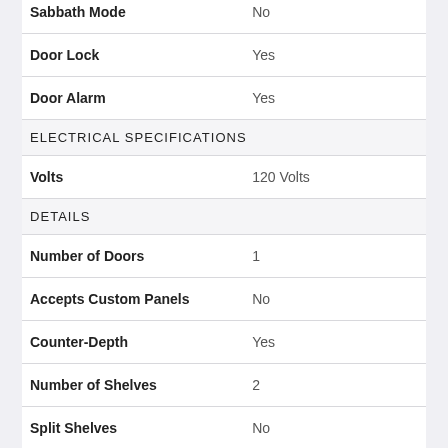| Feature | Value |
| --- | --- |
| Sabbath Mode | No |
| Door Lock | Yes |
| Door Alarm | Yes |
| ELECTRICAL SPECIFICATIONS |  |
| Volts | 120 Volts |
| DETAILS |  |
| Number of Doors | 1 |
| Accepts Custom Panels | No |
| Counter-Depth | Yes |
| Number of Shelves | 2 |
| Split Shelves | No |
| Type of Shelves | Wire |
| Total Capacity | 1.6 cu. ft. |